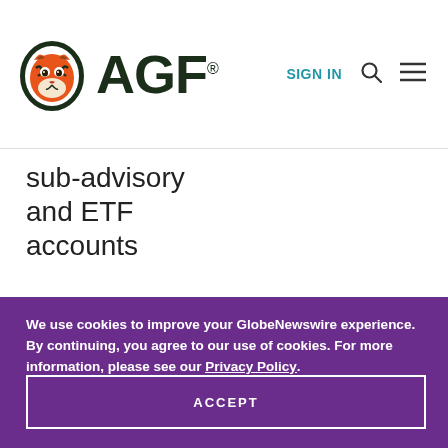[Figure (logo): AGF logo with tiger mascot and AGF wordmark with registered trademark symbol]
sub-advisory and ETF accounts
We use cookies to improve your GlobeNewswire experience. By continuing, you agree to our use of cookies. For more information, please see our Privacy Policy.
ACCEPT